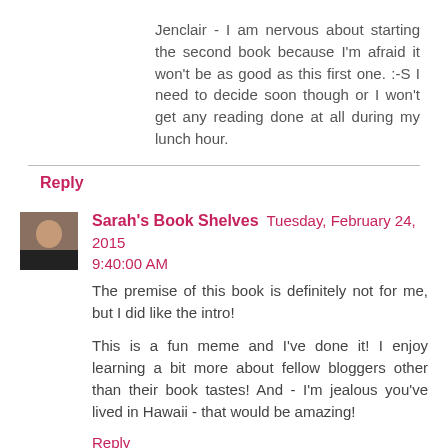Jenclair - I am nervous about starting the second book because I'm afraid it won't be as good as this first one. :-S I need to decide soon though or I won't get any reading done at all during my lunch hour.
Reply
Sarah's Book Shelves Tuesday, February 24, 2015 9:40:00 AM
The premise of this book is definitely not for me, but I did like the intro!
This is a fun meme and I've done it! I enjoy learning a bit more about fellow bloggers other than their book tastes! And - I'm jealous you've lived in Hawaii - that would be amazing!
Reply
Replies